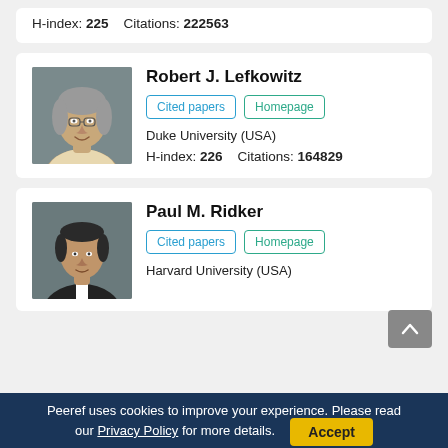H-index: 225    Citations: 222563
[Figure (photo): Headshot photo of Robert J. Lefkowitz]
Robert J. Lefkowitz
Cited papers | Homepage
Duke University (USA)
H-index: 226    Citations: 164829
[Figure (photo): Headshot photo of Paul M. Ridker]
Paul M. Ridker
Cited papers | Homepage
Harvard University (USA)
Peeref uses cookies to improve your experience. Please read our Privacy Policy for more details.  Accept